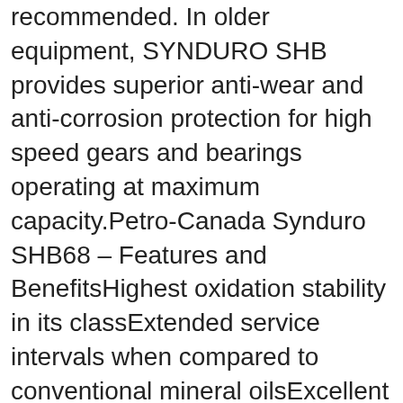recommended. In older equipment, SYNDURO SHB provides superior anti-wear and anti-corrosion protection for high speed gears and bearings operating at maximum capacity.Petro-Canada Synduro SHB68 – Features and BenefitsHighest oxidation stability in its classExtended service intervals when compared to conventional mineral oilsExcellent product integrity in equipment with small lubricant reservoirsLow carbon deposit forming tendencyExcellent thermal stabilitySuperior long term protection over wide temperature rangesReduced carbon deposits on critical componentsExtended equipment life that can lead to reduced maintenance costsSuperior wear protectionExtended equipment lifeReduced possibility of unscheduled shutdownsExcellent resistance to rust and corrosionProvides rust protection on component surfaces in the presence of moistureProtects copper and bronze surfaces from chemical attackHigh viscosity indexReliable equipment start-up at low ambient temperaturesImproved gear and bearing protection at high operating temperaturesSuitable for older equipmentOutstanding anti-wear